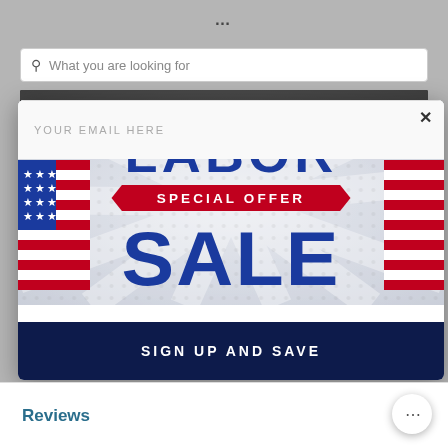What you are looking for
[Figure (screenshot): Background product image area showing dark/blurred product photo]
[Figure (infographic): Labor Sale Special Offer popup modal with sunburst background, 'LABOR' in blue text, 'SPECIAL OFFER' on red ribbon banner, 'SALE' in large blue text, American flag decorations on sides, email input field with placeholder 'YOUR EMAIL HERE', and dark navy 'SIGN UP AND SAVE' button]
Reviews